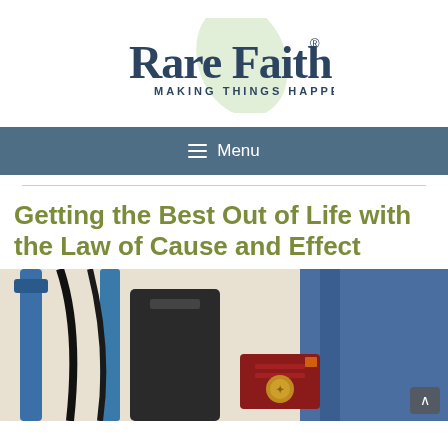[Figure (logo): Rare Faith logo — a leaf watermark behind bold navy text 'Rare Faith' with registered trademark symbol, and smaller spaced text 'MAKING THINGS HAPPEN' below]
☰ Menu
[Figure (photo): Photo of luggage and travel bags with a red/maroon passport visible, handles of blue and black suitcases in background]
Getting the Best Out of Life with the Law of Cause and Effect